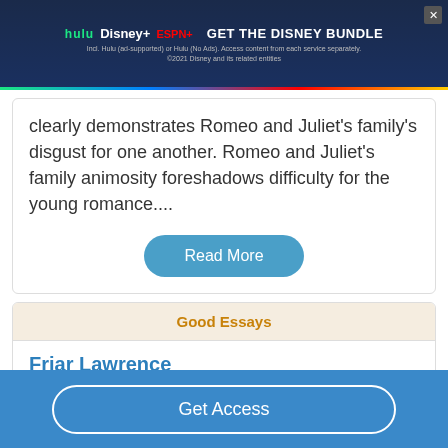[Figure (screenshot): Disney Bundle advertisement banner with Hulu, Disney+, ESPN+ logos and GET THE DISNEY BUNDLE call to action on dark blue background with rainbow gradient bar at bottom]
clearly demonstrates Romeo and Juliet's family's disgust for one another. Romeo and Juliet's family animosity foreshadows difficulty for the young romance....
Read More
Good Essays
Friar Lawrence
544 Words
3 Pages
Get Access